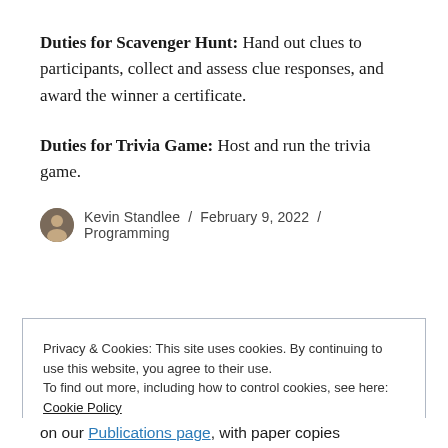Duties for Scavenger Hunt: Hand out clues to participants, collect and assess clue responses, and award the winner a certificate.
Duties for Trivia Game: Host and run the trivia game.
Kevin Standlee / February 9, 2022 / Programming
Privacy & Cookies: This site uses cookies. By continuing to use this website, you agree to their use.
To find out more, including how to control cookies, see here:
Cookie Policy
on our Publications page, with paper copies